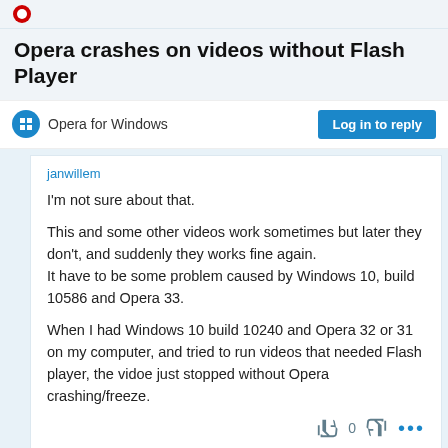Opera crashes on videos without Flash Player
Opera crashes on videos without Flash Player
Opera for Windows
Log in to reply
janwillem
I'm not sure about that.

This and some other videos work sometimes but later they don't, and suddenly they works fine again.
It have to be some problem caused by Windows 10, build 10586 and Opera 33.

When I had Windows 10 build 10240 and Opera 32 or 31 on my computer, and tried to run videos that needed Flash player, the vidoe just stopped without Opera crashing/freeze.
5 out of 10